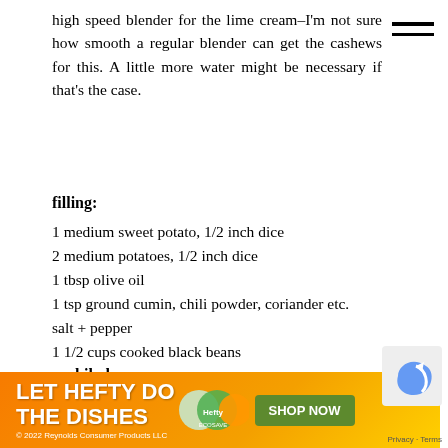high speed blender for the lime cream–I'm not sure how smooth a regular blender can get the cashews for this. A little more water might be necessary if that's the case.
filling:
1 medium sweet potato, 1/2 inch dice
2 medium potatoes, 1/2 inch dice
1 tbsp olive oil
1 tsp ground cumin, chili powder, coriander etc.
salt + pepper
1 1/2 cups cooked black beans
enchilada sauce:
1 jalapeño, stem removed
1 tbsp olive oil
2 garlic cloves, peeled
[Figure (other): Advertisement banner: LET HEFTY DO THE DISHES with product images and SHOP NOW button]